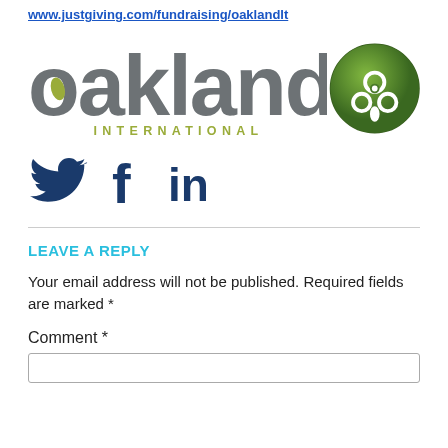www.justgiving.com/fundraising/oaklandlt
[Figure (logo): Oakland International logo with globe icon. Text reads 'oakland' in large grey letters with 'INTERNATIONAL' in green below, and a green globe icon on the right.]
[Figure (illustration): Social media icons for Twitter (bird), Facebook (f), and LinkedIn (in) in dark navy blue.]
LEAVE A REPLY
Your email address will not be published. Required fields are marked *
Comment *